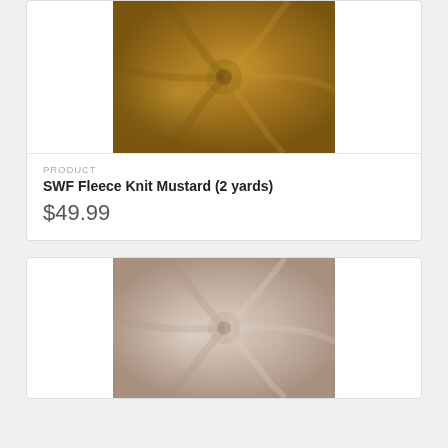[Figure (photo): Close-up of mustard/golden yellow fleece knit fabric with swirled/twisted texture]
PRODUCT
SWF Fleece Knit Mustard (2 yards)
$49.99
[Figure (photo): Close-up of light beige/pink fleece knit fabric with swirled/twisted texture]